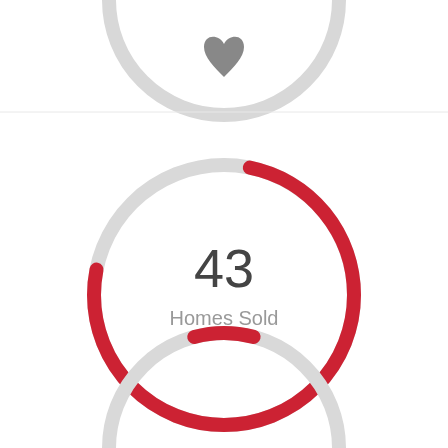[Figure (infographic): A heart icon at the top center, followed by three donut/ring charts stacked vertically. The top ring is cropped (partially visible, gray only). The middle ring shows a red arc covering roughly 75% of the circle on a gray background track, with '43' in large text and 'Homes Sold' label in the center. The bottom ring is also partially cropped, showing a small red arc at the top on a gray track.]